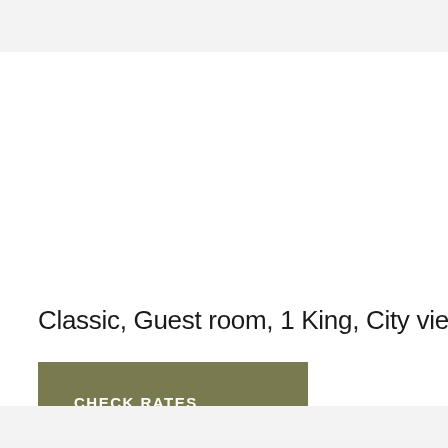[Figure (photo): Hotel room photo area (image not visible — white/blank area)]
Classic, Guest room, 1 King, City view
CHECK RATES